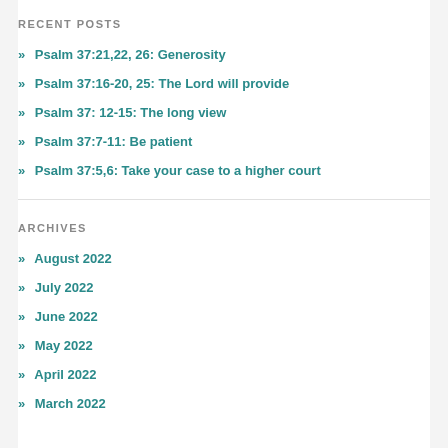RECENT POSTS
» Psalm 37:21,22, 26: Generosity
» Psalm 37:16-20, 25: The Lord will provide
» Psalm 37: 12-15: The long view
» Psalm 37:7-11: Be patient
» Psalm 37:5,6: Take your case to a higher court
ARCHIVES
» August 2022
» July 2022
» June 2022
» May 2022
» April 2022
» March 2022